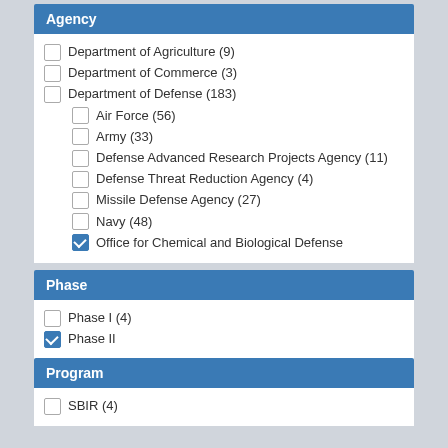Agency
Department of Agriculture (9)
Department of Commerce (3)
Department of Defense (183)
Air Force (56)
Army (33)
Defense Advanced Research Projects Agency (11)
Defense Threat Reduction Agency (4)
Missile Defense Agency (27)
Navy (48)
Office for Chemical and Biological Defense
Phase
Phase I (4)
Phase II
Program
SBIR (4)